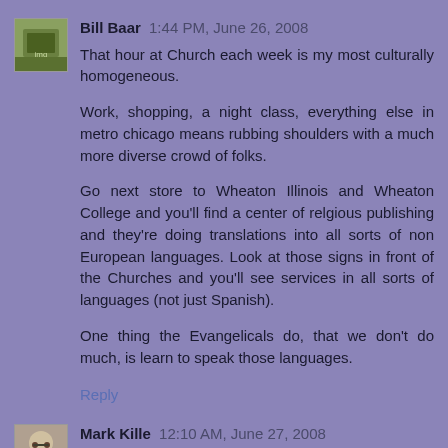[Figure (photo): Avatar photo of Bill Baar - small square profile image showing outdoor signage]
Bill Baar 1:44 PM, June 26, 2008
That hour at Church each week is my most culturally homogeneous.

Work, shopping, a night class, everything else in metro chicago means rubbing shoulders with a much more diverse crowd of folks.

Go next store to Wheaton Illinois and Wheaton College and you'll find a center of relgious publishing and they're doing translations into all sorts of non European languages. Look at those signs in front of the Churches and you'll see services in all sorts of languages (not just Spanish).

One thing the Evangelicals do, that we don't do much, is learn to speak those languages.

Reply
[Figure (photo): Avatar photo of Mark Kille - small square profile image showing person with glasses]
Mark Kille 12:10 AM, June 27, 2008